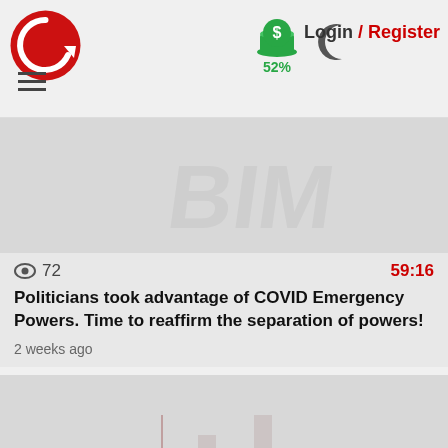[Figure (logo): Red circular arrow/C logo]
[Figure (infographic): Green dollar sign with stack icon and 52% label below]
[Figure (illustration): Dark crescent moon icon]
Login / Register
👁 72   59:16
Politicians took advantage of COVID Emergency Powers. Time to reaffirm the separation of powers!
2 weeks ago
👁 70   58:36
Wokism-Marxism is tearing America apart. Instead of Socialist propaganda, learn from Great Thinkers